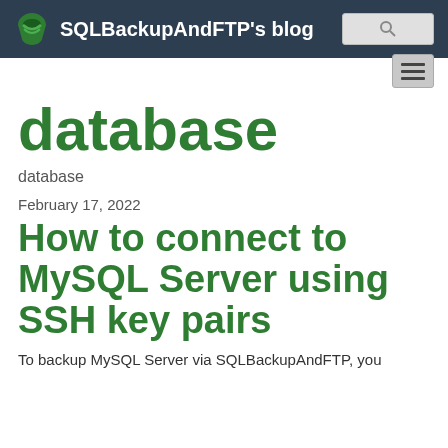SQLBackupAndFTP's blog
database
database
February 17, 2022
How to connect to MySQL Server using SSH key pairs
To backup MySQL Server via SQLBackupAndFTP, you